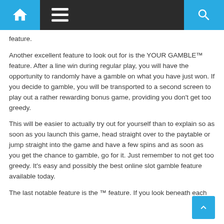Navigation bar with home, menu, and search icons
feature.
Another excellent feature to look out for is the YOUR GAMBLE™ feature. After a line win during regular play, you will have the opportunity to randomly have a gamble on what you have just won. If you decide to gamble, you will be transported to a second screen to play out a rather rewarding bonus game, providing you don't get too greedy.
This will be easier to actually try out for yourself than to explain so as soon as you launch this game, head straight over to the paytable or jump straight into the game and have a few spins and as soon as you get the chance to gamble, go for it. Just remember to not get too greedy. It's easy and possibly the best online slot gamble feature available today.
The last notable feature is the ™ feature. If you look beneath each